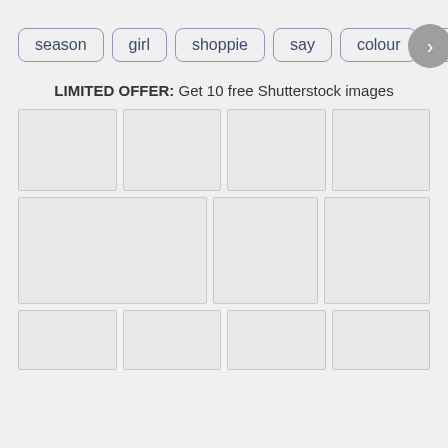season | girl | shoppie | say | colour | trace
LIMITED OFFER: Get 10 free Shutterstock images
[Figure (other): Grid of image placeholders (empty gray boxes) arranged in three rows: first row has 4 boxes, second row has 3 boxes (first wider), third row has 4 boxes partially visible.]